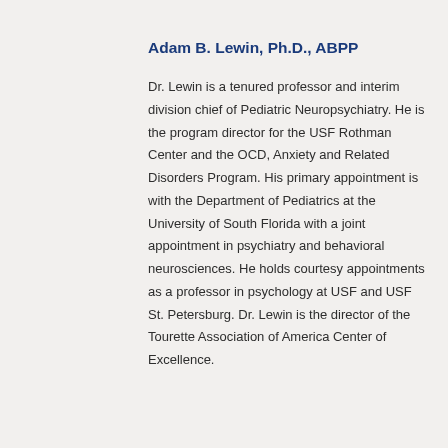Adam B. Lewin, Ph.D., ABPP
Dr. Lewin is a tenured professor and interim division chief of Pediatric Neuropsychiatry. He is the program director for the USF Rothman Center and the OCD, Anxiety and Related Disorders Program. His primary appointment is with the Department of Pediatrics at the University of South Florida with a joint appointment in psychiatry and behavioral neurosciences. He holds courtesy appointments as a professor in psychology at USF and USF St. Petersburg. Dr. Lewin is the director of the Tourette Association of America Center of Excellence.